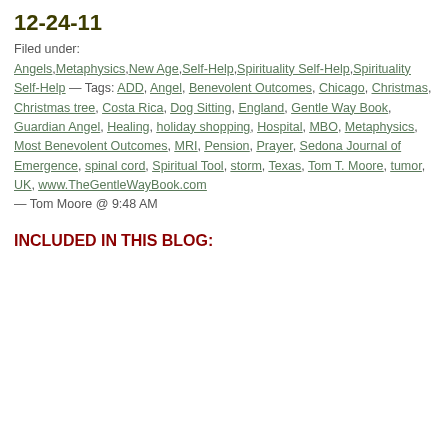12-24-11
Filed under: Angels, Metaphysics, New Age, Self-Help, Spirituality Self-Help, Spirituality Self-Help — Tags: ADD, Angel, Benevolent Outcomes, Chicago, Christmas, Christmas tree, Costa Rica, Dog Sitting, England, Gentle Way Book, Guardian Angel, Healing, holiday shopping, Hospital, MBO, Metaphysics, Most Benevolent Outcomes, MRI, Pension, Prayer, Sedona Journal of Emergence, spinal cord, Spiritual Tool, storm, Texas, Tom T. Moore, tumor, UK, www.TheGentleWayBook.com — Tom Moore @ 9:48 AM
INCLUDED IN
THIS BLOG: